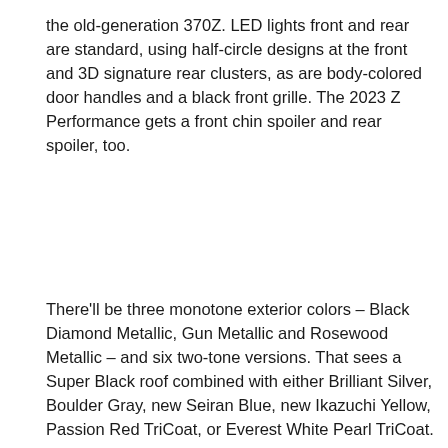the old-generation 370Z. LED lights front and rear are standard, using half-circle designs at the front and 3D signature rear clusters, as are body-colored door handles and a black front grille. The 2023 Z Performance gets a front chin spoiler and rear spoiler, too.
There'll be three monotone exterior colors – Black Diamond Metallic, Gun Metallic and Rosewood Metallic – and six two-tone versions. That sees a Super Black roof combined with either Brilliant Silver, Boulder Gray, new Seiran Blue, new Ikazuchi Yellow, Passion Red TriCoat, or Everest White Pearl TriCoat.
[Figure (photo): Broken/unloaded image placeholder with small image icon in top-left corner]